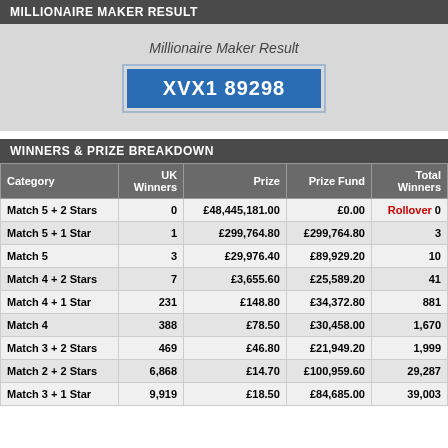MILLIONAIRE MAKER RESULT
Millionaire Maker Result
XVX1 89298
WINNERS & PRIZE BREAKDOWN
| Category | UK Winners | Prize | Prize Fund | Total Winners |
| --- | --- | --- | --- | --- |
| Match 5 + 2 Stars | 0 | £48,445,181.00 | £0.00 | Rollover 0 |
| Match 5 + 1 Star | 1 | £299,764.80 | £299,764.80 | 3 |
| Match 5 | 3 | £29,976.40 | £89,929.20 | 10 |
| Match 4 + 2 Stars | 7 | £3,655.60 | £25,589.20 | 41 |
| Match 4 + 1 Star | 231 | £148.80 | £34,372.80 | 881 |
| Match 4 | 388 | £78.50 | £30,458.00 | 1,670 |
| Match 3 + 2 Stars | 469 | £46.80 | £21,949.20 | 1,999 |
| Match 2 + 2 Stars | 6,868 | £14.70 | £100,959.60 | 29,287 |
| Match 3 + 1 Star | 9,919 | £18.50 | £84,685.00 | 39,003 |